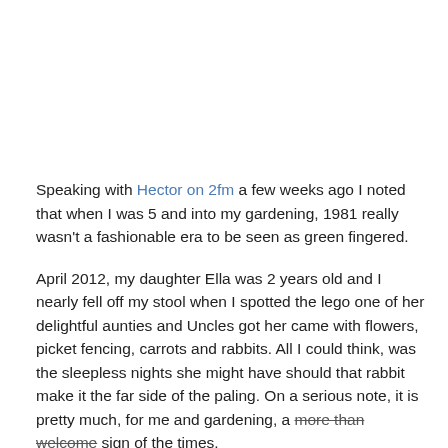Speaking with Hector on 2fm a few weeks ago I noted that when I was 5 and into my gardening, 1981 really wasn't a fashionable era to be seen as green fingered.
April 2012, my daughter Ella was 2 years old and I nearly fell off my stool when I spotted the lego one of her delightful aunties and Uncles got her came with flowers, picket fencing, carrots and rabbits. All I could think, was the sleepless nights she might have should that rabbit make it the far side of the paling. On a serious note, it is pretty much, for me and gardening, a more than welcome sign of the times.
In the Donegan household, we like a fine mix of simplistic and pretty. The balance is hugely important. To note, the following